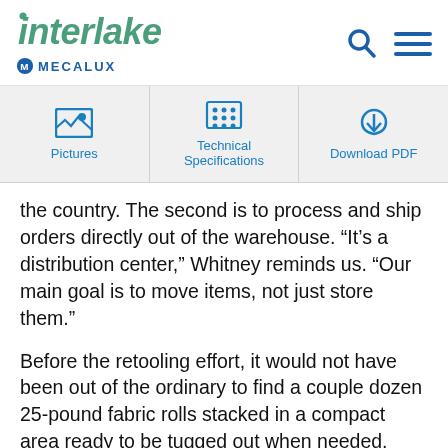[Figure (logo): Interlake Mecalux logo with search and menu icons]
[Figure (screenshot): Navigation bar with Pictures, Technical Specifications, and Download PDF tabs]
the country. The second is to process and ship orders directly out of the warehouse. “It’s a distribution center,” Whitney reminds us. “Our main goal is to move items, not just store them.”
Before the retooling effort, it would not have been out of the ordinary to find a couple dozen 25-pound fabric rolls stacked in a compact area ready to be tugged out when needed. This practice left many rolls frayed, dented, with unnatural ridges, essentially destroyed. “That [storage method] wasn’t going to work with our volume,” Whitney says,